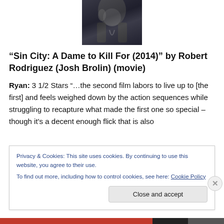[Figure (photo): Movie poster image for Sin City: A Dame to Kill For, showing dark figures]
“Sin City: A Dame to Kill For (2014)” by Robert Rodriguez (Josh Brolin) (movie)
Ryan: 3 1/2 Stars “…the second film labors to live up to [the first] and feels weighed down by the action sequences while struggling to recapture what made the first one so special – though it’s a decent enough flick that is also
Privacy & Cookies: This site uses cookies. By continuing to use this website, you agree to their use.
To find out more, including how to control cookies, see here: Cookie Policy